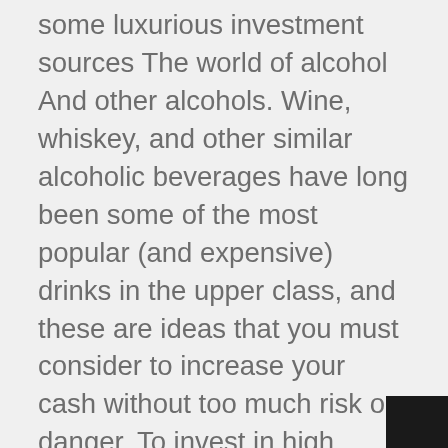some luxurious investment sources The world of alcohol And other alcohols. Wine, whiskey, and other similar alcoholic beverages have long been some of the most popular (and expensive) drinks in the upper class, and these are ideas that you must consider to increase your cash without too much risk or danger. To invest in high quality wines and other aged alcohols, you must make sure that you can create or rent the most suitable dark cellar space for storing your alcohol in the best possible fashion. Storage specifications are dramatically important when you sell aged wine and other alcoholic beverages, because too much dampness or high temperatures can easily make your alcohol sour or taste bad. Generally speaking, the older the bottle of wine or whiskey, the wider and more